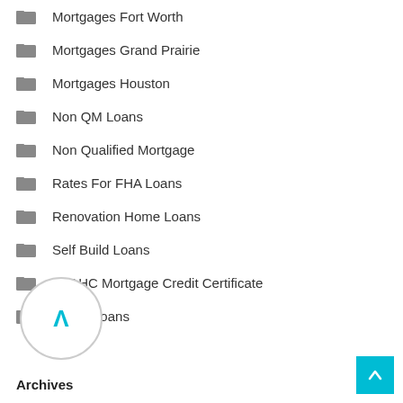Mortgages Fort Worth
Mortgages Grand Prairie
Mortgages Houston
Non QM Loans
Non Qualified Mortgage
Rates For FHA Loans
Renovation Home Loans
Self Build Loans
TSAHC Mortgage Credit Certificate
USDA Loans
Archives